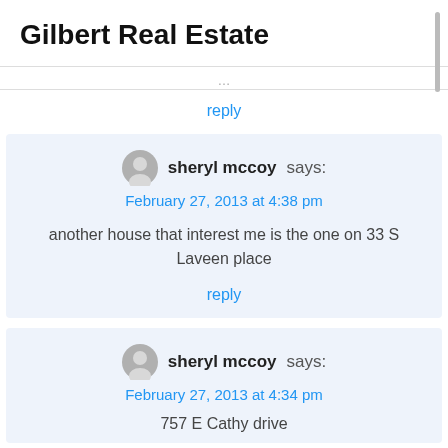Gilbert Real Estate
reply
sheryl mccoy says: February 27, 2013 at 4:38 pm
another house that interest me is the one on 33 S Laveen place
reply
sheryl mccoy says: February 27, 2013 at 4:34 pm
757 E Cathy drive